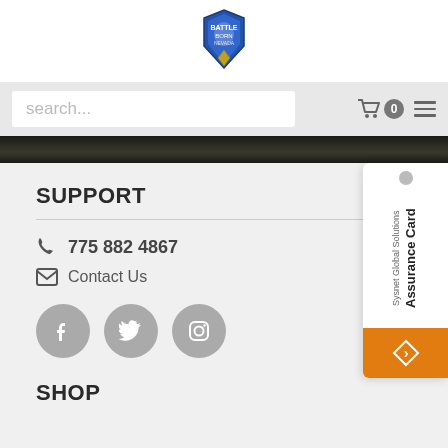[Figure (logo): Shield/badge logo for a government or law enforcement organization, centered at top]
search...
[Figure (illustration): Shopping cart icon with badge showing 0 and hamburger menu icon]
[Figure (photo): Dark banner/hero image strip]
SUPPORT
775 882 4867
Contact Us
[Figure (illustration): Social media icons: Facebook, Twitter, Instagram - gray circular buttons]
[Figure (illustration): Sysnet Global Solutions Assurance Card partial advertisement on right side]
SHOP